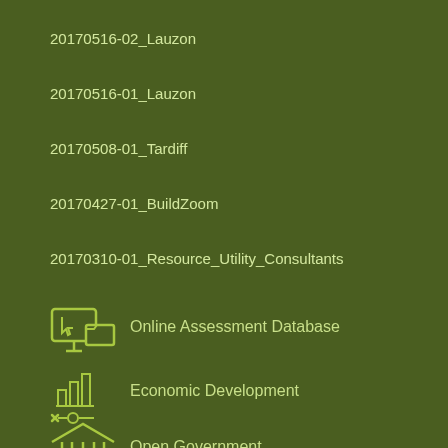20170516-02_Lauzon
20170516-01_Lauzon
20170508-01_Tardiff
20170427-01_BuildZoom
20170310-01_Resource_Utility_Consultants
[Figure (illustration): Icon of a computer monitor with a folder, representing Online Assessment Database]
Online Assessment Database
[Figure (illustration): Icon of a bar chart with a wrench/gear, representing Economic Development]
Economic Development
[Figure (illustration): Icon of a government building/pillars, representing Open Government]
Open Government